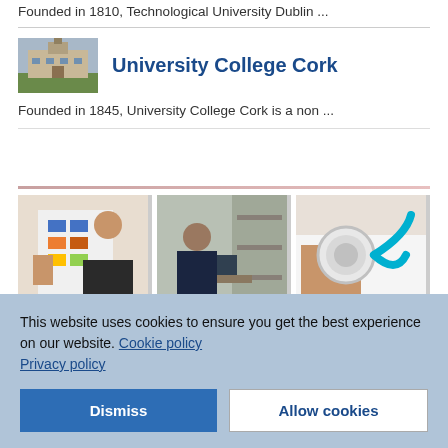Founded in 1810, Technological University Dublin ...
[Figure (photo): Aerial/exterior view of University College Cork campus buildings with courtyard]
University College Cork
Founded in 1845, University College Cork is a non ...
[Figure (photo): Three photos: person reviewing a colorful chart/plan, man standing in a laboratory or workshop, hand holding a stethoscope]
This website uses cookies to ensure you get the best experience on our website. Cookie policy Privacy policy
Dismiss
Allow cookies